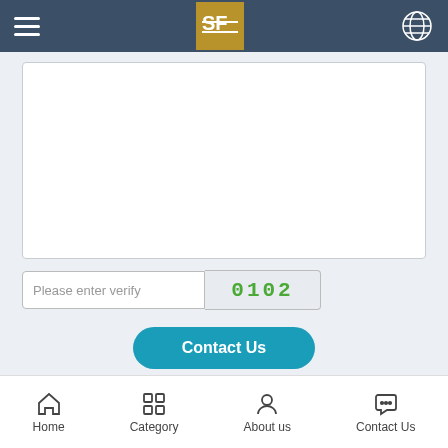[Figure (screenshot): Website navigation bar with hamburger menu on left, logo in center, globe icon on right, dark blue background]
[Figure (screenshot): White textarea input box (empty/blank content area for user input)]
[Figure (screenshot): Verify code input field with placeholder 'Please enter verify' and CAPTCHA showing '0102' in green handwritten style]
[Figure (screenshot): Teal rounded 'Contact Us' button]
Other Products
[Figure (photo): Product image on left: teal/cyan colored tube or packaging on grey background]
[Figure (photo): Product image on right: amber/brown glass cylinder container on light background]